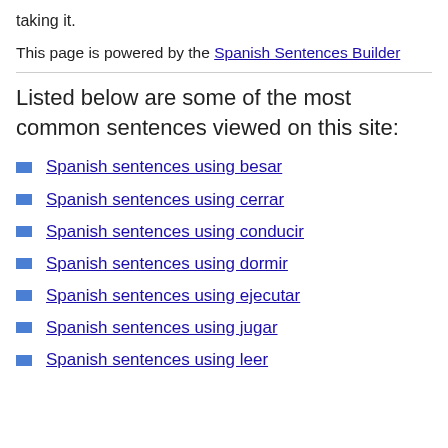taking it.
This page is powered by the Spanish Sentences Builder
Listed below are some of the most common sentences viewed on this site:
Spanish sentences using besar
Spanish sentences using cerrar
Spanish sentences using conducir
Spanish sentences using dormir
Spanish sentences using ejecutar
Spanish sentences using jugar
Spanish sentences using leer